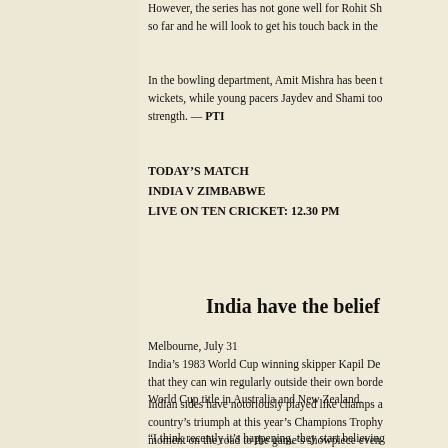However, the series has not gone well for Rohit Sharma so far and he will look to get his touch back in the
In the bowling department, Amit Mishra has been taking wickets, while young pacers Jaydev and Shami too strength. — PTI
TODAY'S MATCH
INDIA V ZIMBABWE
LIVE ON TEN CRICKET: 12.30 PM
India have the belief
Melbourne, July 31
India's 1983 World Cup winning skipper Kapil Dev that they can win regularly outside their own borders World Cup title in Australia and New Zealand.
Indian sides have notoriously played like champs at country's triumph at this year's Champions Trophy moment on the road to the game's showpiece event
“I think recently it’s happening, they start believing on Tuesday. “I think the Champions Trophy, winning themselves.